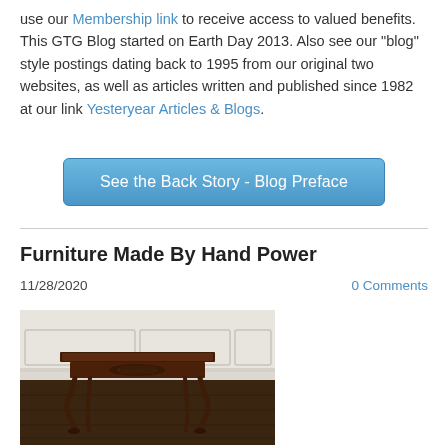use our Membership link to receive access to valued benefits. This GTG Blog started on Earth Day 2013. Also see our "blog" style postings dating back to 1995 from our original two websites, as well as articles written and published since 1982 at our link Yesteryear Articles & Blogs.
[Figure (other): Blue button labeled 'See the Back Story - Blog Preface']
Furniture Made By Hand Power
11/28/2020
0 Comments
[Figure (photo): Photo of a dark wood antique side table with cabriole legs and carved apron detail, placed against a white wainscoted wall on dark hardwood flooring.]